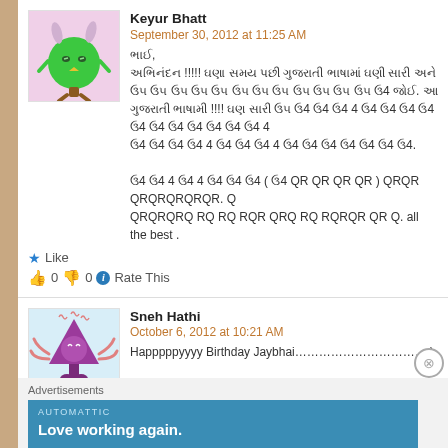[Figure (illustration): Green cartoon monster avatar with bunny ears, on pink background]
Keyur Bhatt
September 30, 2012 at 11:25 AM
Comment text in Gujarati/Hindi script with exclamation marks and mention of 'all the best .'
Like   👍 0  👎 0  ℹ Rate This
[Figure (illustration): Purple cartoon tree character avatar on light blue background]
Sneh Hathi
October 6, 2012 at 10:21 AM
Happpppyyyy Birthday Jaybhai……………………………:)
Like   👍 0  👎 0  ℹ Rate This
Advertisements
[Figure (screenshot): Automattic advertisement banner: 'Love working again.']